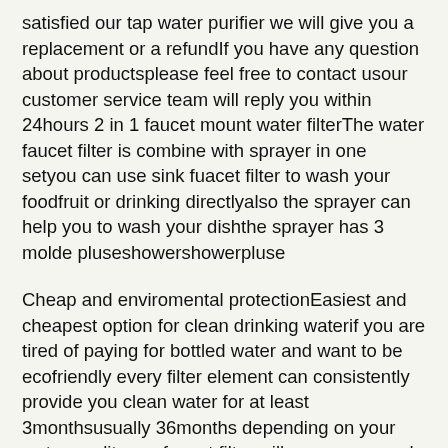satisfied our tap water purifier we will give you a replacement or a refundIf you have any question about productsplease feel free to contact usour customer service team will reply you within 24hours 2 in 1 faucet mount water filterThe water faucet filter is combine with sprayer in one setyou can use sink fuacet filter to wash your foodfruit or drinking directlyalso the sprayer can help you to wash your dishthe sprayer has 3 molde pluseshowershowerpluse
Cheap and enviromental protectionEasiest and cheapest option for clean drinking waterif you are tired of paying for bottled water and want to be ecofriendly every filter element can consistently provide you clean water for at least 3monthsusually 36months depending on your water quality our faucet filter will save your much money everydayWe also prepare the replacement filters to buy when your filter has been exhausted
4layers high precision faucet water purifier fiter system ensure your family drinking healthThe kitchen sink water filter chemical elements to b...